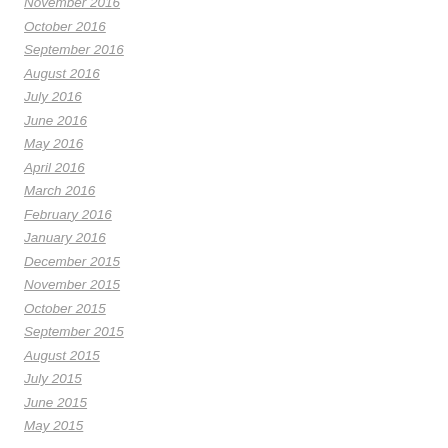November 2016
October 2016
September 2016
August 2016
July 2016
June 2016
May 2016
April 2016
March 2016
February 2016
January 2016
December 2015
November 2015
October 2015
September 2015
August 2015
July 2015
June 2015
May 2015